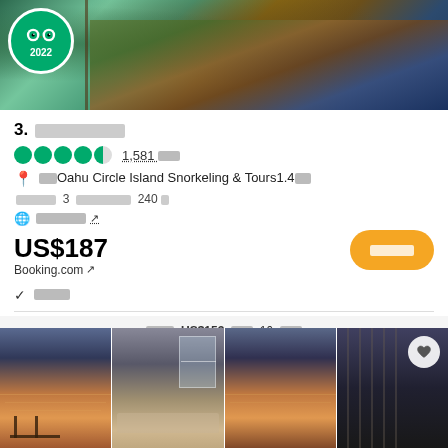[Figure (photo): Hotel exterior with tropical surroundings, TripAdvisor 2022 badge overlay]
3. ███████
●●●●◐ 1,581 ███
📍 ███Oahu Circle Island Snorkeling & Tours1.4██
██████ 3 █████████ 240 █
🌐 ███████ ↗
US$187
Booking.com ↗
████
✓ ████
████ US$153 ███ 16 ████
[Figure (photo): Four hotel room/view photos at bottom of page]